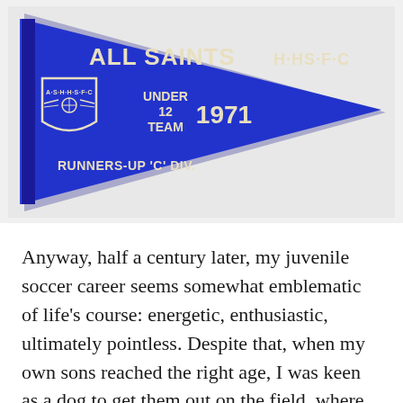[Figure (photo): A blue felt pennant/banner for 'All Saints H.H.S.F.C' Under 12 Team 1971, with a club crest showing 'A·S·H·H·S·F·C' and wings, labeled 'Runners-Up C Div.']
Anyway, half a century later, my juvenile soccer career seems somewhat emblematic of life's course: energetic, enthusiastic, ultimately pointless. Despite that, when my own sons reached the right age, I was keen as a dog to get them out on the field, where they played, won and lost with an earnest enthusiasm[3] that I